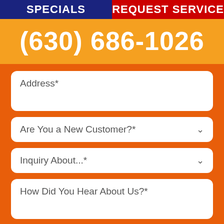SPECIALS | REQUEST SERVICE
(630) 686-1026
Address*
Are You a New Customer?*
Inquiry About...*
How Did You Hear About Us?*